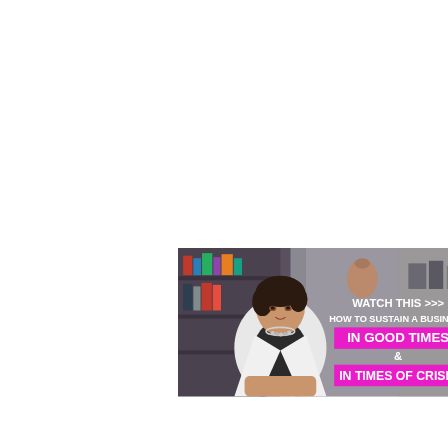[Figure (photo): Video thumbnail showing an Asian woman in a white blazer and black top with a necklace, sitting in front of a bookshelf background. Text overlay reads: 'WATCH THIS >>> HOW TO SUSTAIN A BUSINESS IN GOOD TIMES & IN TIMES OF CRISIS' with the last two phrases on pink/magenta highlight backgrounds.]